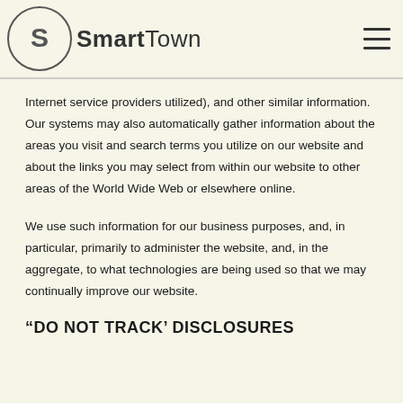SmartTown
Internet service providers utilized), and other similar information. Our systems may also automatically gather information about the areas you visit and search terms you utilize on our website and about the links you may select from within our website to other areas of the World Wide Web or elsewhere online.
We use such information for our business purposes, and, in particular, primarily to administer the website, and, in the aggregate, to what technologies are being used so that we may continually improve our website.
“DO NOT TRACK’ DISCLOSURES